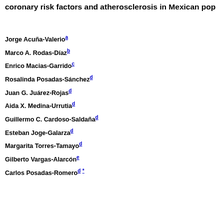coronary risk factors and atherosclerosis in Mexican pop
Jorge Acuña-Valerio a
Marco A. Rodas-Díaz b
Enrico Macias-Garrido c
Rosalinda Posadas-Sánchez d
Juan G. Juárez-Rojas d
Aida X. Medina-Urrutia d
Guillermo C. Cardoso-Saldaña d
Esteban Joge-Galarza d
Margarita Torres-Tamayo d
Gilberto Vargas-Alarcón e
Carlos Posadas-Romero d *